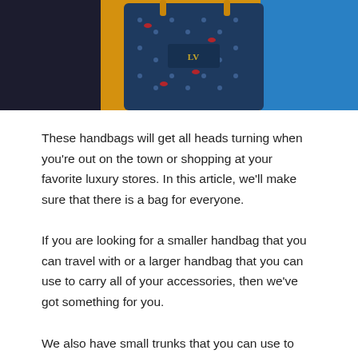[Figure (photo): Cropped photo showing a patterned luxury handbag (dark blue with monogram print and red accents) against a mustard yellow and bright blue background, likely worn or held by a person.]
These handbags will get all heads turning when you're out on the town or shopping at your favorite luxury stores. In this article, we'll make sure that there is a bag for everyone.
If you are looking for a smaller handbag that you can travel with or a larger handbag that you can use to carry all of your accessories, then we've got something for you.
We also have small trunks that you can use to carry your valuables, makeup and clothing in absolute style.